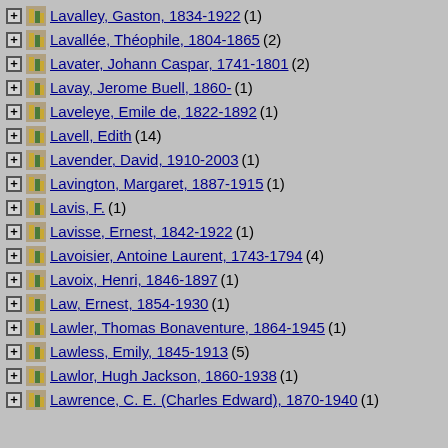Lavalley, Gaston, 1834-1922 (1)
Lavallée, Théophile, 1804-1865 (2)
Lavater, Johann Caspar, 1741-1801 (2)
Lavay, Jerome Buell, 1860- (1)
Laveleye, Emile de, 1822-1892 (1)
Lavell, Edith (14)
Lavender, David, 1910-2003 (1)
Lavington, Margaret, 1887-1915 (1)
Lavis, F. (1)
Lavisse, Ernest, 1842-1922 (1)
Lavoisier, Antoine Laurent, 1743-1794 (4)
Lavoix, Henri, 1846-1897 (1)
Law, Ernest, 1854-1930 (1)
Lawler, Thomas Bonaventure, 1864-1945 (1)
Lawless, Emily, 1845-1913 (5)
Lawlor, Hugh Jackson, 1860-1938 (1)
Lawrence, C. E. (Charles Edward), 1870-1940 (1)